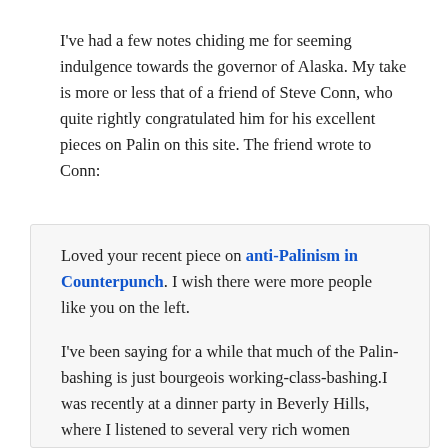I've had a few notes chiding me for seeming indulgence towards the governor of Alaska. My take is more or less that of a friend of Steve Conn, who quite rightly congratulated him for his excellent pieces on Palin on this site. The friend wrote to Conn:
Loved your recent piece on anti-Palinism in Counterpunch. I wish there were more people like you on the left.

I've been saying for a while that much of the Palin-bashing is just bourgeois working-class-bashing.I was recently at a dinner party in Beverly Hills, where I listened to several very rich women (Hollywood execs and the wife of a real estate mogul) complain about Palin's accent, her hairstyle, her lack of education, etc. The capper, from the wife